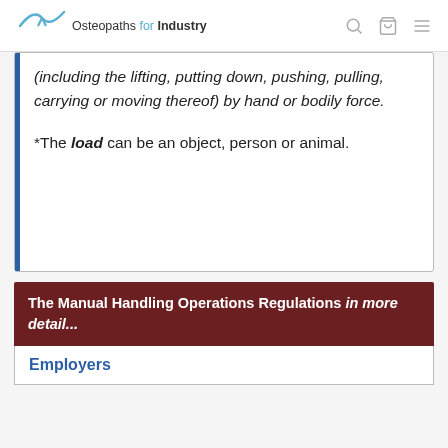Osteopaths for Industry
(including the lifting, putting down, pushing, pulling, carrying or moving thereof) by hand or bodily force.

*The load can be an object, person or animal.
The Manual Handling Operations Regulations in more detail...
Employers